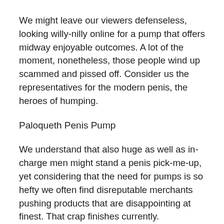We might leave our viewers defenseless, looking willy-nilly online for a pump that offers midway enjoyable outcomes. A lot of the moment, nonetheless, those people wind up scammed and pissed off. Consider us the representatives for the modern penis, the heroes of humping.
Paloqueth Penis Pump
We understand that also huge as well as in-charge men might stand a penis pick-me-up, yet considering that the need for pumps is so hefty we often find disreputable merchants pushing products that are disappointing at finest. That crap finishes currently.